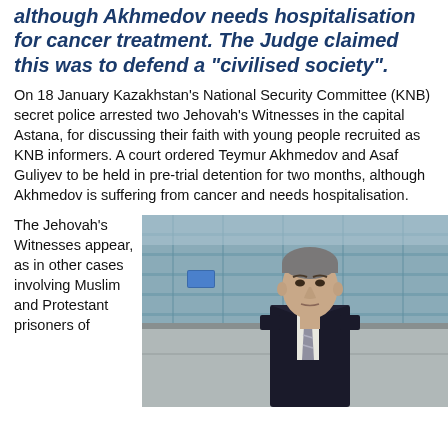although Akhmedov needs hospitalisation for cancer treatment. The Judge claimed this was to defend a "civilised society".
On 18 January Kazakhstan's National Security Committee (KNB) secret police arrested two Jehovah's Witnesses in the capital Astana, for discussing their faith with young people recruited as KNB informers. A court ordered Teymur Akhmedov and Asaf Guliyev to be held in pre-trial detention for two months, although Akhmedov is suffering from cancer and needs hospitalisation.
The Jehovah's Witnesses appear, as in other cases involving Muslim and Protestant prisoners of
[Figure (photo): A middle-aged man in a dark suit and striped tie standing outdoors in front of a glass building facade]